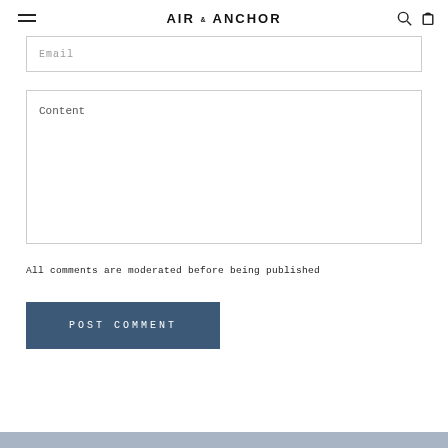AIR & ANCHOR
Email
Content
All comments are moderated before being published
POST COMMENT